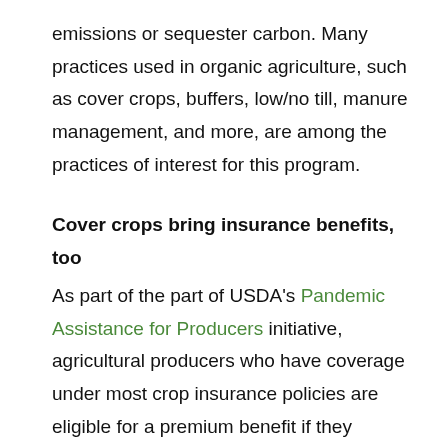emissions or sequester carbon. Many practices used in organic agriculture, such as cover crops, buffers, low/no till, manure management, and more, are among the practices of interest for this program.
Cover crops bring insurance benefits, too
As part of the part of USDA's Pandemic Assistance for Producers initiative, agricultural producers who have coverage under most crop insurance policies are eligible for a premium benefit if they planted cover crops during the